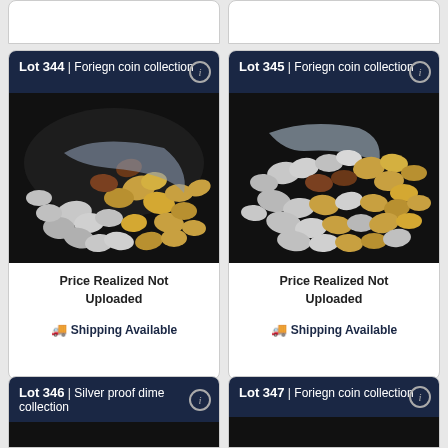[Figure (photo): Partial tops of two auction lot cards from a row above, showing white card backgrounds]
Lot 344 | Foriegn coin collection
[Figure (photo): Photo of a large pile of foreign coins on a black background, various sizes and metals including silver and gold colored coins]
Price Realized Not Uploaded
Shipping Available
Lot 345 | Foriegn coin collection
[Figure (photo): Photo of a large pile of foreign coins on a black background, spread out showing many different coins]
Price Realized Not Uploaded
Shipping Available
Lot 346 | Silver proof dime collection
Lot 347 | Foriegn coin collection